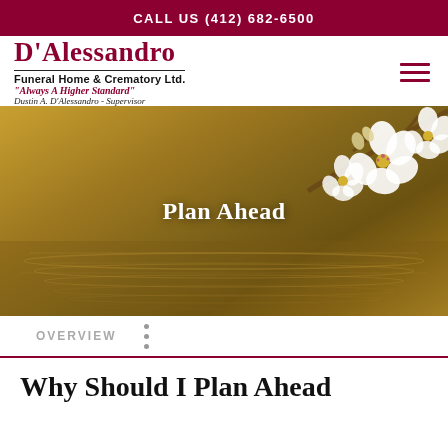CALL US (412) 682-6500
[Figure (logo): D'Alessandro Funeral Home & Crematory Ltd. logo with tagline 'Always A Higher Standard' and Dustin A. D'Alessandro - Supervisor]
[Figure (photo): Hero banner image showing white cherry blossoms on the upper right with a gold/brown blurred background and water ripple reflection at the bottom, overlaid with the text 'Plan Ahead']
Plan Ahead
OVERVIEW
Why Should I Plan Ahead